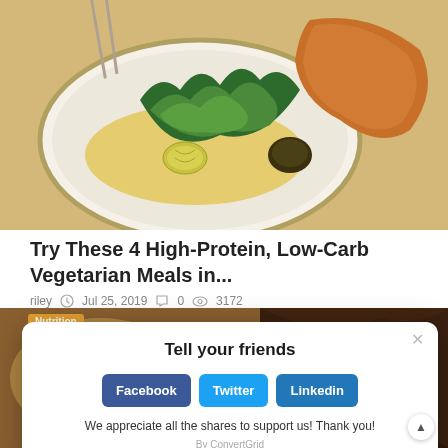[Figure (photo): Close-up food photo of a plated dish with green vegetables (bok choy/spinach), a crispy piece, and yellow sauce on a white plate]
Try These 4 High-Protein, Low-Carb Vegetarian Meals in...
riley  Jul 25, 2019  0  3172
[Figure (photo): Food photo strip showing colorful vegetables and salad ingredients, partially obscured by modal overlay. Nutrition badge visible.]
Nutrition
Tell your friends
Facebook
Twitter
Linkedin
We appreciate all the shares to support us! Thank you!
By ConvertGrid